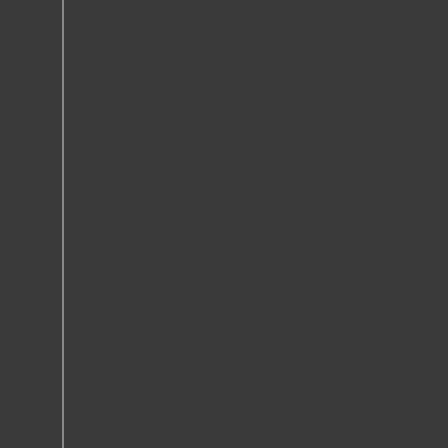therapy. This two part process is a reduced chance at relapse than wi...
Residential, as well as outpatient t... problems from ecstasy abuse. The... correlating the appropriate treatme... gaining ground as a positive appro... approach provides rewards for re... option can help the individual who... society with healthy activities that p...
Heroin Abuse Help, Royal, Nebra...
Heroin abuse help is often neces... Heroin is a highly addictive subst... regular use. Because mild withdra... their "sickness" is actually withdra... can be very serious as heroin abu... havoc to their work, money, relatio...
The first step to help an individual... the drug itself and help them con... There are many steps that follow t... treatment program will go through... importance on the road of heroin a... for heroin abuse. The knowledge a... everyday life to truly be effective.
Marijuana Abuse Help, Royal, Ne...
There are many individuals who fin... order to help yourself or someone... using marijuana is understood. Th... often helpful to identify the reaso... providing ideas of how to achieve... example, some people abuse mar... relaxing without smoking marijua... enhance conversation and social... years of smoking, the quality of rel...